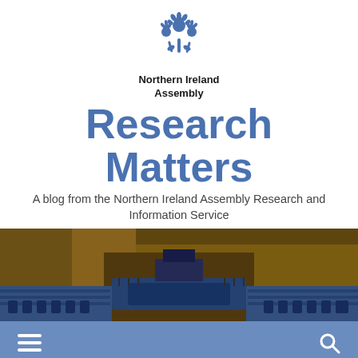[Figure (logo): Northern Ireland Assembly floral emblem logo in blue]
Northern Ireland Assembly
Research Matters
A blog from the Northern Ireland Assembly Research and Information Service
[Figure (photo): Interior panoramic photograph of the Northern Ireland Assembly chamber showing wooden panelled walls, blue upholstered seats, and a central table]
[Figure (screenshot): Blue navigation bar with hamburger menu icon on left and search icon on right]
Poundhog Day: The UK Chancellor's Summer